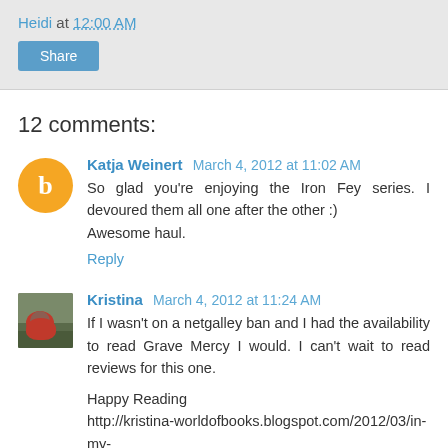Heidi at 12:00 AM
Share
12 comments:
Katja Weinert March 4, 2012 at 11:02 AM
So glad you're enjoying the Iron Fey series. I devoured them all one after the other :)
Awesome haul.
Reply
Kristina March 4, 2012 at 11:24 AM
If I wasn't on a netgalley ban and I had the availability to read Grave Mercy I would. I can't wait to read reviews for this one.

Happy Reading
http://kristina-worldofbooks.blogspot.com/2012/03/in-my-